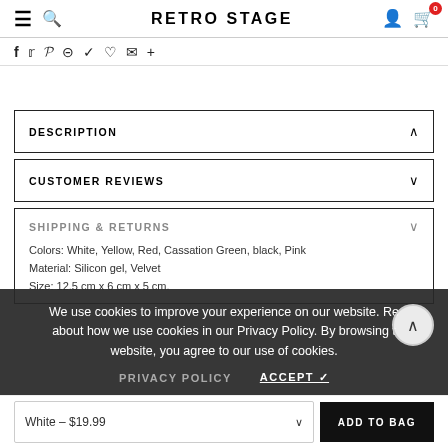RETRO STAGE
f  y  p  ⊞  ⁂  ♡  ✉  +
DESCRIPTION
CUSTOMER REVIEWS
SHIPPING & RETURNS
Colors: White, Yellow, Red, Cassation Green, black, Pink
Material: Silicon gel, Velvet
Size: 12.5 cm x 6 cm x 5 cm.
We use cookies to improve your experience on our website. Read about how we use cookies in our Privacy Policy. By browsing this website, you agree to our use of cookies.
PRIVACY POLICY    ACCEPT ✔
White – $19.99    ADD TO BAG